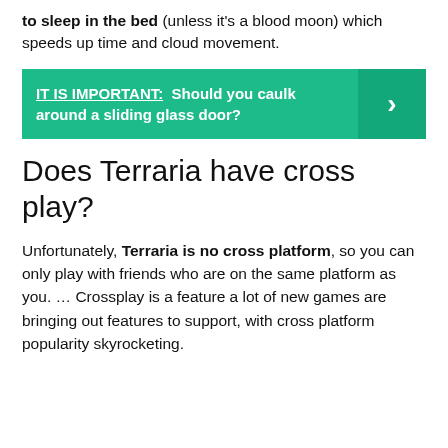to sleep in the bed (unless it's a blood moon) which speeds up time and cloud movement.
[Figure (infographic): Teal banner with text: IT IS IMPORTANT: Should you caulk around a sliding glass door? with a right-pointing chevron arrow on the right side.]
Does Terraria have cross play?
Unfortunately, Terraria is no cross platform, so you can only play with friends who are on the same platform as you. ... Crossplay is a feature a lot of new games are bringing out features to support, with cross platform popularity skyrocketing.